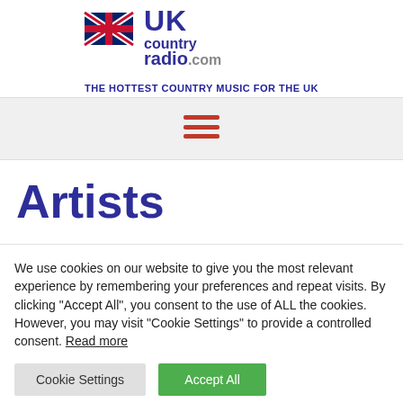UK Country Radio.com — THE HOTTEST COUNTRY MUSIC FOR THE UK
[Figure (logo): UK Country Radio .com logo with Union Jack flag graphic and stylized text, tagline: THE HOTTEST COUNTRY MUSIC FOR THE UK]
[Figure (infographic): Hamburger menu icon (three horizontal red lines)]
Artists
We use cookies on our website to give you the most relevant experience by remembering your preferences and repeat visits. By clicking "Accept All", you consent to the use of ALL the cookies. However, you may visit "Cookie Settings" to provide a controlled consent. Read more
Cookie Settings | Accept All